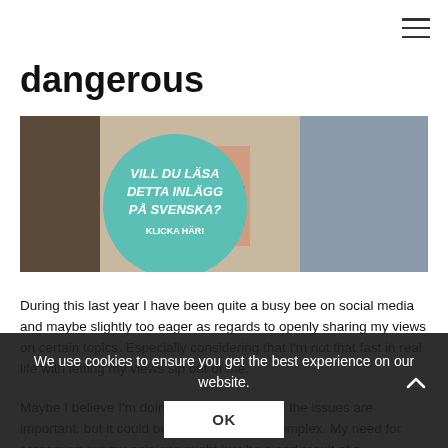dangerous
[Figure (photo): Blog post header image showing a child in a striped shirt with a teal circle overlay containing Swedish text 'VILL DU LÄSA DETTA INLÄGG PÅ SVENSKA? KLICKA HÄR!']
During this last year I have been quite a busy bee on social media and maybe slightly too eager as regards to openly sharing my views on certain topics. Especially considering that I'm not that fast in real life with letting my views sip out of me.
Maybe I believe I'm doing this because I feel the issues are important, but it could be something more complex. My need for screaming out my opinions might just be a sad result of a
We use cookies to ensure you get the best experience on our website.
OK